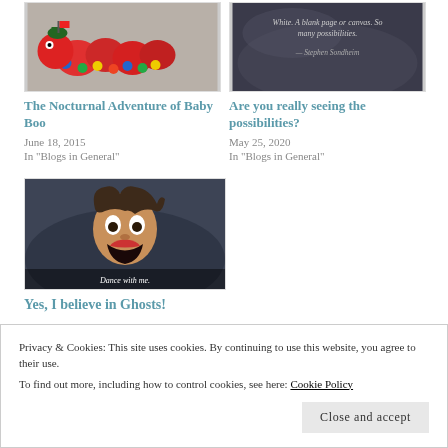[Figure (photo): Colorful toy caterpillar or similar plastic toy on a carpet]
[Figure (photo): Dark background with quote text: 'White. A blank page or canvas. So many possibilities. — Stephen Sondheim']
The Nocturnal Adventure of Baby Boo
June 18, 2015
In "Blogs in General"
Are you really seeing the possibilities?
May 25, 2020
In "Blogs in General"
[Figure (photo): Person with dramatic expression, text overlay: 'Dance with me.']
Yes, I believe in Ghosts!
Privacy & Cookies: This site uses cookies. By continuing to use this website, you agree to their use.
To find out more, including how to control cookies, see here: Cookie Policy
Close and accept